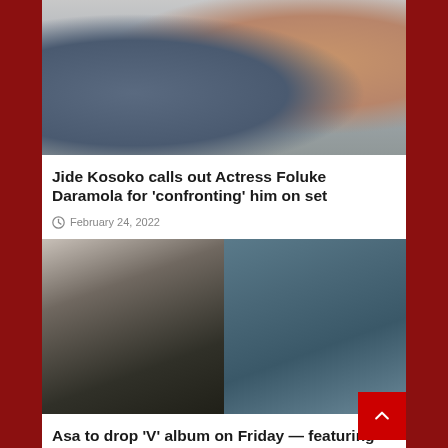[Figure (photo): Two people facing each other in conversation — a man in a blue shirt on the left and a woman with glasses on the right]
Jide Kosoko calls out Actress Foluke Daramola for 'confronting' him on set
February 24, 2022
[Figure (photo): Split image: left side black and white photo of a woman, right side color photo of a person in a blue-grey hoodie]
Asa to drop 'V' album on Friday — featuring Wizkid…